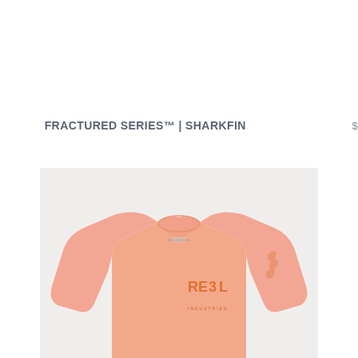FRACTURED SERIES™ | SHARKFIN
$ 45.00 USD
[Figure (photo): A salmon/peach colored long-sleeve performance shirt laid flat, featuring an orange REEL logo on the chest and graphic design on the sleeve, displayed against a light gray background.]